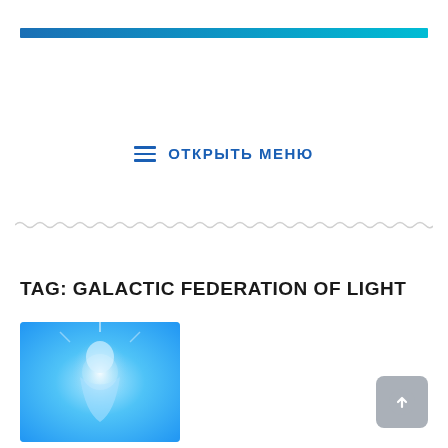≡ ОТКРЫТЬ МЕНЮ
TAG: GALACTIC FEDERATION OF LIGHT
[Figure (illustration): Fantasy/cosmic illustration with a glowing figure in blue and teal tones, likely an anime or sci-fi character amid light effects]
[Figure (other): Gray rounded square button with an upward arrow icon (scroll-to-top button)]